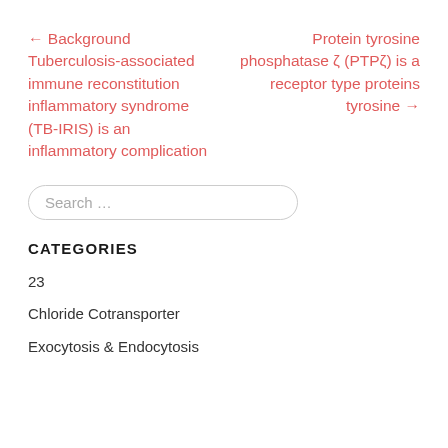← Background Tuberculosis-associated immune reconstitution inflammatory syndrome (TB-IRIS) is an inflammatory complication
Protein tyrosine phosphatase ζ (PTPζ) is a receptor type proteins tyrosine →
Search …
CATEGORIES
23
Chloride Cotransporter
Exocytosis & Endocytosis